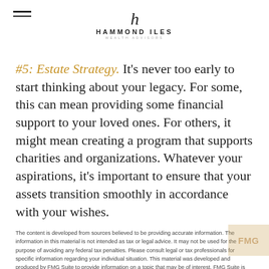Hammond Iles Wealth Advisors — logo header
#5: Estate Strategy. It's never too early to start thinking about your legacy. For some, this can mean providing some financial support to your loved ones. For others, it might mean creating a program that supports charities and organizations. Whatever your aspirations, it's important to ensure that your assets transition smoothly in accordance with your wishes.
The content is developed from sources believed to be providing accurate information. The information in this material is not intended as tax or legal advice. It may not be used for the purpose of avoiding any federal tax penalties. Please consult legal or tax professionals for specific information regarding your individual situation. This material was developed and produced by FMG Suite to provide information on a topic that may be of interest. FMG Suite is not affiliated with the named broker-dealer, state- or SEC-registered investment advisory firm. The opinions expressed and material provided are for general information, and should not be considered a solicitation for the purchase or sale of any security. Copyright 2022 FMG Suite.